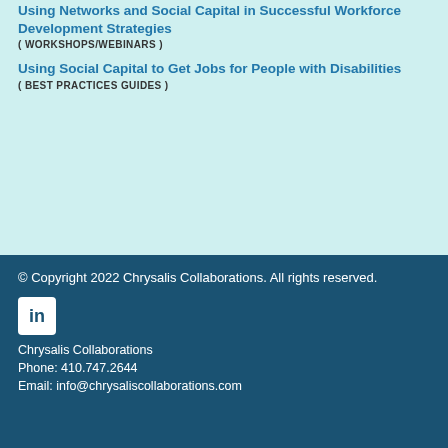Using Networks and Social Capital in Successful Workforce Development Strategies
( WORKSHOPS/WEBINARS )
Using Social Capital to Get Jobs for People with Disabilities
( BEST PRACTICES GUIDES )
© Copyright 2022 Chrysalis Collaborations. All rights reserved.
[Figure (logo): LinkedIn logo icon - white 'in' text on white background square with rounded corners]
Chrysalis Collaborations
Phone: 410.747.2644
Email: info@chrysaliscollaborations.com